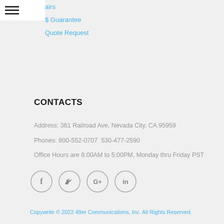Repairs
$ Guarantee
Quote Request
CONTACTS
Address: 361 Railroad Ave, Nevada City, CA 95959
Phones: 800-552-0707  530-477-2590
Office Hours are 8:00AM to 5:00PM, Monday thru Friday PST
[Figure (illustration): Four social media icons in circles: Facebook (f), Twitter (bird), Google+ (G+), LinkedIn (in)]
Copywrite © 2022 49er Communications, Inc. All Rights Reserved.